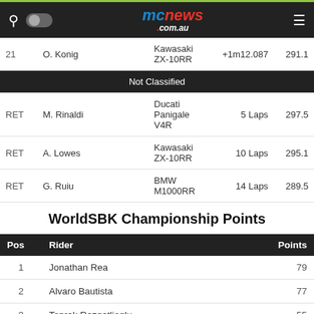mcnews.com.au
| Pos | Rider | Bike | Gap | Speed |
| --- | --- | --- | --- | --- |
| 21 | O. Konig | Kawasaki ZX-10RR | +1m12.087 | 291.1 |
| Not Classified |  |  |  |  |
| RET | M. Rinaldi | Ducati Panigale V4R | 5 Laps | 297.5 |
| RET | A. Lowes | Kawasaki ZX-10RR | 10 Laps | 295.1 |
| RET | G. Ruiu | BMW M1000RR | 14 Laps | 289.5 |
WorldSBK Championship Points
| Pos | Rider | Points |
| --- | --- | --- |
| 1 | Jonathan Rea | 79 |
| 2 | Alvaro Bautista | 77 |
| 3 | Toprak Razgatlioglu | 55 |
| 4 | Michael Ruben Rinaldi | 32 |
| 5 | Andrea Locatelli | 29 |
| 6 | Iker Lecuona | 29 |